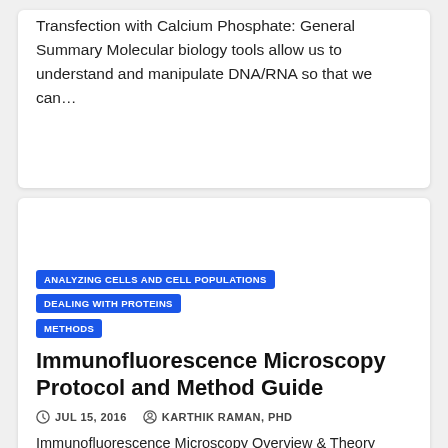Transfection with Calcium Phosphate: General Summary Molecular biology tools allow us to understand and manipulate DNA/RNA so that we can…
ANALYZING CELLS AND CELL POPULATIONS   DEALING WITH PROTEINS   METHODS
Immunofluorescence Microscopy Protocol and Method Guide
JUL 15, 2016   KARTHIK RAMAN, PHD
Immunofluorescence Microscopy Overview & Theory Immunofluorescence Microscopy (IF) is a classical